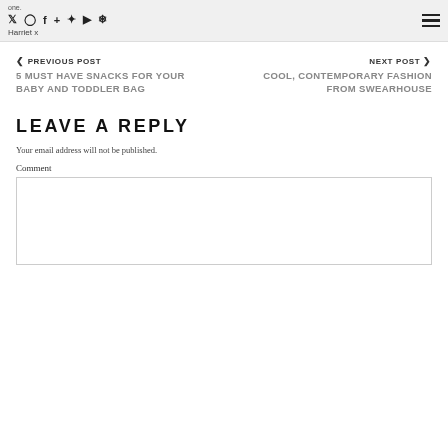one. [social icons: twitter, instagram, facebook, google+, pinterest, youtube, snapchat] [hamburger menu] Harriet x
< PREVIOUS POST
5 MUST HAVE SNACKS FOR YOUR BABY AND TODDLER BAG
NEXT POST >
COOL, CONTEMPORARY FASHION FROM SWEARHOUSE
LEAVE A REPLY
Your email address will not be published.
Comment